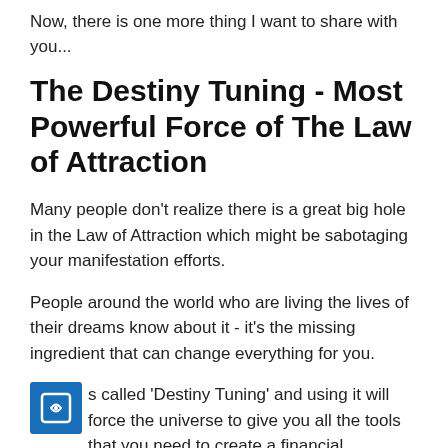Now, there is one more thing I want to share with you...
The Destiny Tuning - Most Powerful Force of The Law of Attraction
Many people don't realize there is a great big hole in the Law of Attraction which might be sabotaging your manifestation efforts.
People around the world who are living the lives of their dreams know about it - it's the missing ingredient that can change everything for you.
s called 'Destiny Tuning' and using it will force the universe to give you all the tools that you need to create a financial, emotional and